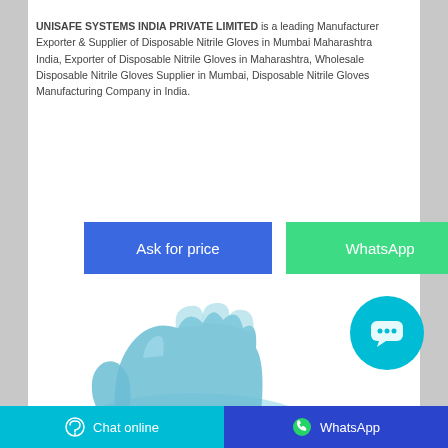UNISAFE SYSTEMS INDIA PRIVATE LIMITED is a leading Manufacturer Exporter & Supplier of Disposable Nitrile Gloves in Mumbai Maharashtra India, Exporter of Disposable Nitrile Gloves in Maharashtra, Wholesale Disposable Nitrile Gloves Supplier in Mumbai, Disposable Nitrile Gloves Manufacturing Company in India.
[Figure (other): Two buttons side by side: blue 'Ask for price' button and green 'WhatsApp' button]
[Figure (photo): A blue disposable nitrile glove shown from the palm side with fingers spread]
[Figure (other): Cyan circular chat bubble button with three white dots indicating a chat interface]
Chat online   WhatsApp